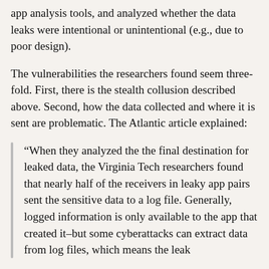app analysis tools, and analyzed whether the data leaks were intentional or unintentional (e.g., due to poor design).
The vulnerabilities the researchers found seem three-fold. First, there is the stealth collusion described above. Second, how the data collected and where it is sent are problematic. The Atlantic article explained:
"When they analyzed the the final destination for leaked data, the Virginia Tech researchers found that nearly half of the receivers in leaky app pairs sent the sensitive data to a log file. Generally, logged information is only available to the app that created it—but some cyberattacks can extract data from log files, which means the leak